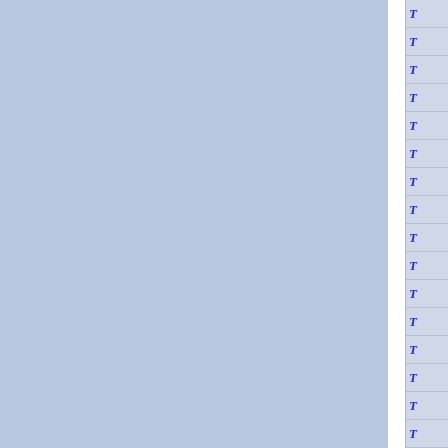[Figure (other): Document page showing two blue-grey panels separated by a white vertical divider, with a right-side column containing 16 rows of italic bold blue letter T characters on a light grey background with horizontal dividing lines.]